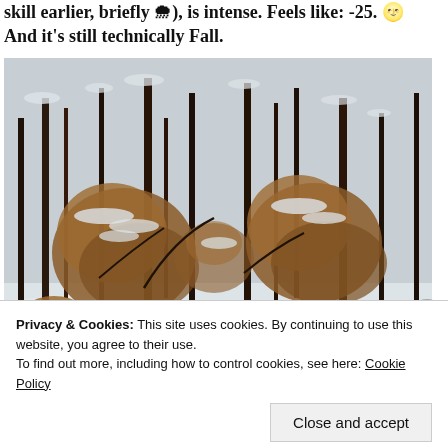skill earlier, briefly 🌨), is intense. Feels like: -25. 🌝 And it's still technically Fall.
[Figure (photo): A winter forest scene with snow on the ground and brown dried leaves still clinging to bare trees. The scene shows multiple thin tree trunks with patches of snow covering branches and the forest floor.]
Privacy & Cookies: This site uses cookies. By continuing to use this website, you agree to their use.
To find out more, including how to control cookies, see here: Cookie Policy
Close and accept